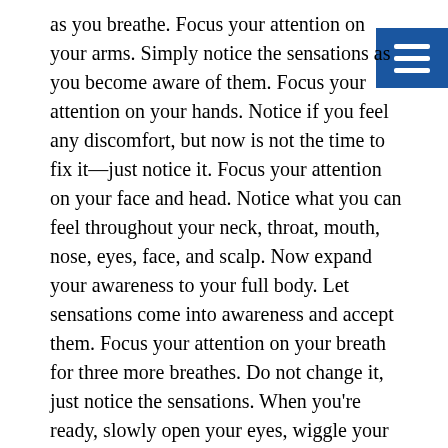as you breathe. Focus your attention on your arms. Simply notice the sensations as you become aware of them. Focus your attention on your hands. Notice if you feel any discomfort, but now is not the time to fix it—just notice it. Focus your attention on your face and head. Notice what you can feel throughout your neck, throat, mouth, nose, eyes, face, and scalp. Now expand your awareness to your full body. Let sensations come into awareness and accept them. Focus your attention on your breath for three more breathes. Do not change it, just notice the sensations. When you're ready, slowly open your eyes, wiggle your fingers and toes, and bring your attention back to your surroundings.
Watching Our Thoughts, Feelings, Physical Sensations, and Urges is a tool to help us be aware of what our minds need. Again, this is something that can be a brief practice or a longer one depending on the time available or the length of time it takes to reach the